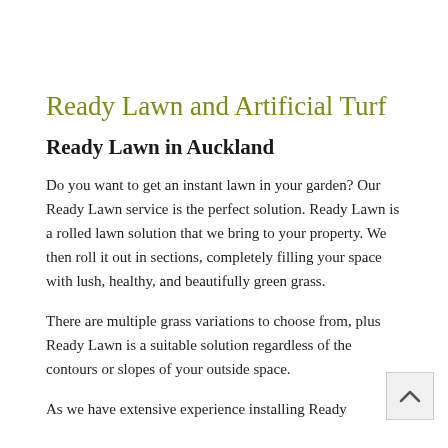Ready Lawn and Artificial Turf
Ready Lawn in Auckland
Do you want to get an instant lawn in your garden? Our Ready Lawn service is the perfect solution. Ready Lawn is a rolled lawn solution that we bring to your property. We then roll it out in sections, completely filling your space with lush, healthy, and beautifully green grass.
There are multiple grass variations to choose from, plus Ready Lawn is a suitable solution regardless of the contours or slopes of your outside space.
As we have extensive experience installing Ready